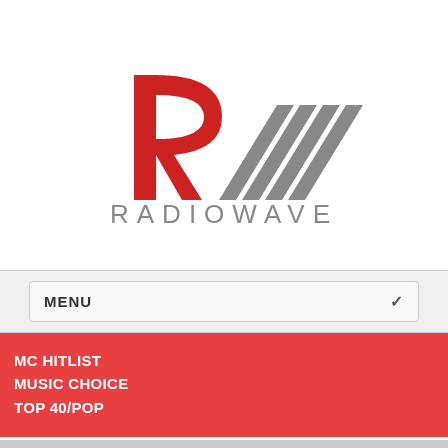[Figure (logo): Radiowave logo: stylized R in red and gray diagonal stripes, with text RADIOWAVE in gray capital letters below]
MENU
MC HITLIST
MUSIC CHOICE
TOP 40/POP